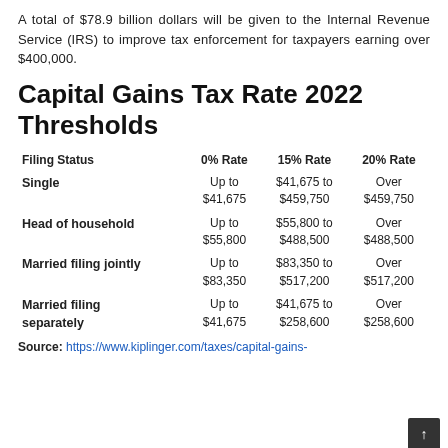A total of $78.9 billion dollars will be given to the Internal Revenue Service (IRS) to improve tax enforcement for taxpayers earning over $400,000.
Capital Gains Tax Rate 2022 Thresholds
| Filing Status | 0% Rate | 15% Rate | 20% Rate |
| --- | --- | --- | --- |
| Single | Up to
$41,675 | $41,675 to
$459,750 | Over
$459,750 |
| Head of household | Up to
$55,800 | $55,800 to
$488,500 | Over
$488,500 |
| Married filing jointly | Up to
$83,350 | $83,350 to
$517,200 | Over
$517,200 |
| Married filing separately | Up to
$41,675 | $41,675 to
$258,600 | Over
$258,600 |
Source: https://www.kiplinger.com/taxes/capital-gains-